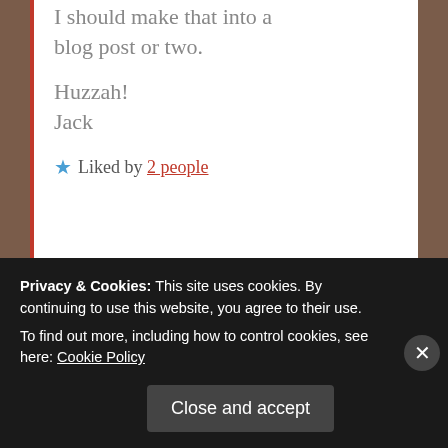I should make that into a blog post or two.

Huzzah!
Jack
Liked by 2 people
Leave a Reply to CalicoJack
Cancel reply
Privacy & Cookies: This site uses cookies. By continuing to use this website, you agree to their use.
To find out more, including how to control cookies, see here: Cookie Policy
Close and accept